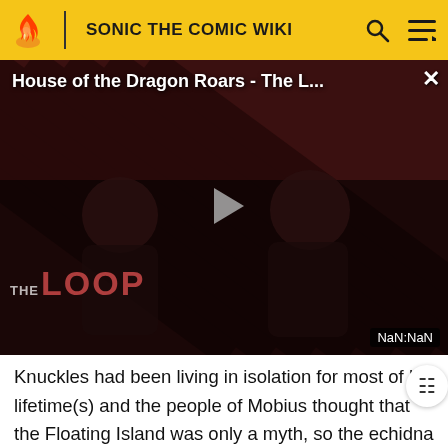SONIC THE COMIC WIKI
[Figure (screenshot): Video player showing 'House of the Dragon Roars - The L...' with a dark diagonal striped background, two silhouetted figures, a play button in the center, 'THE LOOP' text overlay in the lower left, and a NaN:NaN time badge in the lower right. A close (X) button is in the upper right.]
Knuckles had been living in isolation for most of his lifetime(s) and the people of Mobius thought that the Floating Island was only a myth, so the echidna had litt. to no social skills or understanding of people. That all began to change after Knuckles made his first contact with Doctor Robotnik, whose Death Egg satellite had